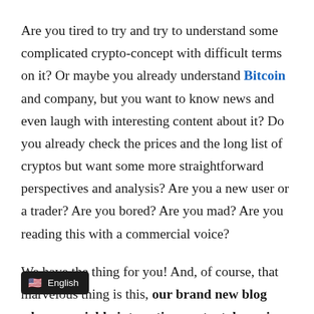Are you tired to try and try to understand some complicated crypto-concept with difficult terms on it? Or maybe you already understand Bitcoin and company, but you want to know news and even laugh with interesting content about it? Do you already check the prices and the long list of cryptos but want some more straightforward perspectives and analysis? Are you a new user or a trader? Are you bored? Are you mad? Are you reading this with a commercial voice?
We have the thing for you! And, of course, that marvelous thing is this, our brand new blog where you [highly interesting content, learn in the